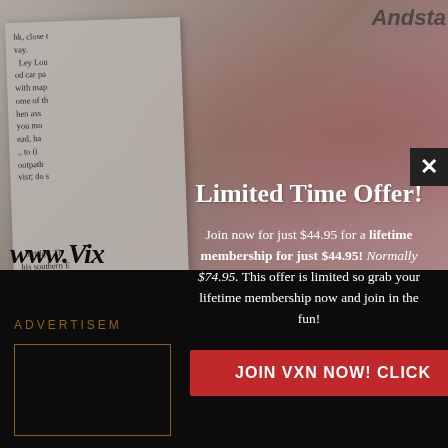[Figure (photo): Background showing a person in red outfit, with torn paper texture overlay on left side showing partial text fragments]
www.Vix
ADVERTISEMENT
[Figure (other): Dark gold-bordered advertisement box]
Limited Time Offer!
Join now for just $44.95 for a lifetime membership for just $44.95! Normally $74.95. This offer is limited so grab your lifetime membership now and join in the fun!
JOIN VXN NOW! CLICK